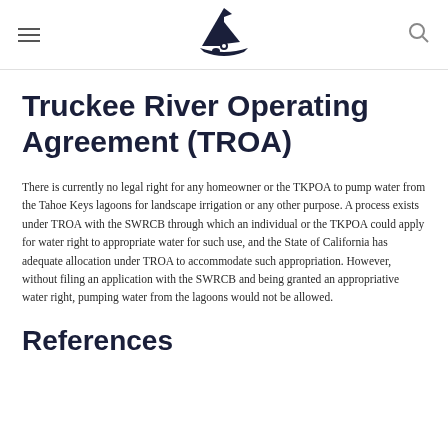[Logo: Tahoe Keys Property Owners Association sailboat icon]
Truckee River Operating Agreement (TROA)
There is currently no legal right for any homeowner or the TKPOA to pump water from the Tahoe Keys lagoons for landscape irrigation or any other purpose. A process exists under TROA with the SWRCB through which an individual or the TKPOA could apply for water right to appropriate water for such use, and the State of California has adequate allocation under TROA to accommodate such appropriation. However, without filing an application with the SWRCB and being granted an appropriative water right, pumping water from the lagoons would not be allowed.
References